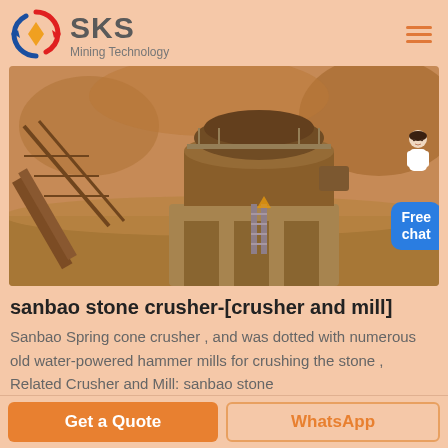[Figure (logo): SKS Mining Technology logo with circular arrow emblem in red and blue with orange diamond, beside brand name SKS and tagline Mining Technology]
[Figure (photo): Industrial stone crushing plant site with large cone crusher machine on concrete base, conveyor belts, scaffolding, and earthen surroundings, sepia/orange toned photograph]
sanbao stone crusher-[crusher and mill]
Sanbao Spring cone crusher , and was dotted with numerous old water-powered hammer mills for crushing the stone , Related Crusher and Mill: sanbao stone